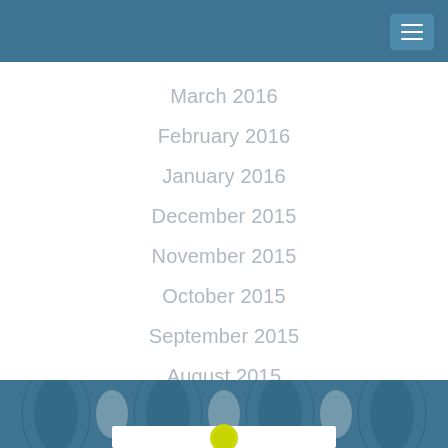March 2016
February 2016
January 2016
December 2015
November 2015
October 2015
September 2015
August 2015
July 2015
February 2015
[Figure (illustration): Website navigation sidebar with teal header, hamburger menu button, white content area listing monthly archive links, and decorative oval pattern background at bottom]